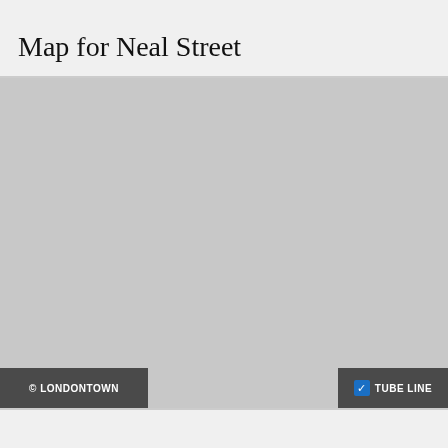Map for Neal Street
[Figure (map): A greyed-out map area for Neal Street, London. The map content is not visible, showing a plain grey placeholder area.]
© LONDONTOWN   ✓ TUBE LINE